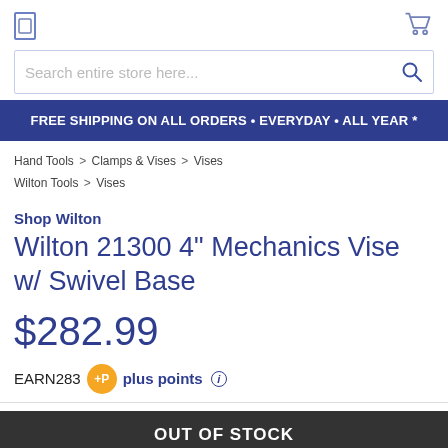Search entire store here...
FREE SHIPPING ON ALL ORDERS • EVERYDAY • ALL YEAR *
Hand Tools > Clamps & Vises > Vises
Wilton Tools > Vises
Shop Wilton
Wilton 21300 4" Mechanics Vise w/ Swivel Base
$282.99
EARN283 +P plus points
OUT OF STOCK